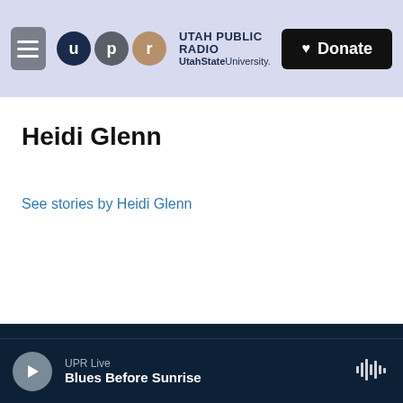Utah Public Radio — UtahState University — Donate
Heidi Glenn
See stories by Heidi Glenn
© 2022 Utah Public Radio
College of Humanities and Social Sciences
FCC hosted Online Public File
UPR Live — Blues Before Sunrise